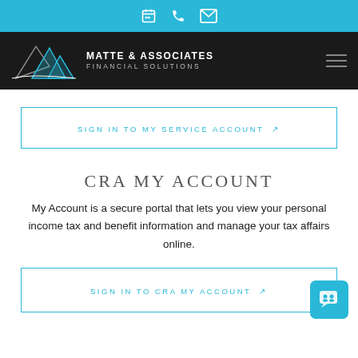Top navigation bar with calendar, phone, and email icons
[Figure (logo): Matte & Associates Financial Solutions logo with mountain graphic on dark background, hamburger menu icon on right]
SIGN IN TO MY SERVICE ACCOUNT ↗
CRA MY ACCOUNT
My Account is a secure portal that lets you view your personal income tax and benefit information and manage your tax affairs online.
SIGN IN TO CRA MY ACCOUNT ↗